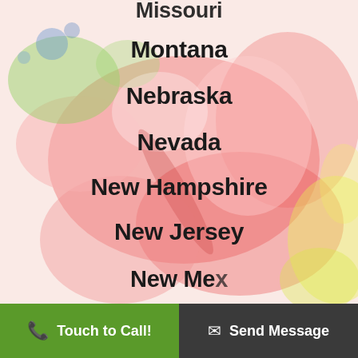Missouri
Montana
Nebraska
Nevada
New Hampshire
New Jersey
New Mexico
[Figure (illustration): Colorful watercolor paint splash background with pink, red, green, blue, yellow splotches]
Touch to Call!    Send Message